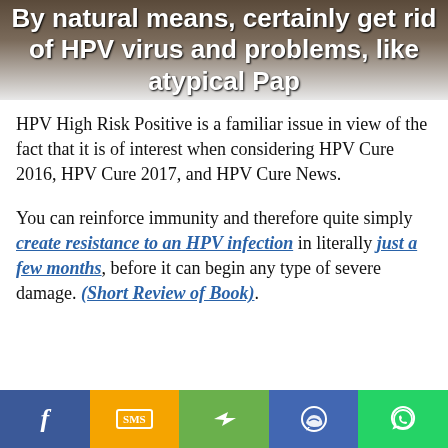By natural means, certainly get rid of HPV virus and problems, like atypical Pap
HPV High Risk Positive is a familiar issue in view of the fact that it is of interest when considering HPV Cure 2016, HPV Cure 2017, and HPV Cure News.
You can reinforce immunity and therefore quite simply create resistance to an HPV infection in literally just a few months, before it can begin any type of severe damage. (Short Review of Book).